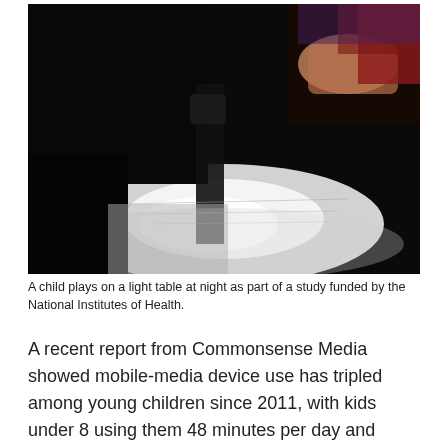[Figure (photo): A dark photograph showing a child's hands playing on a bright light table at night, with a dark background and illuminated surface visible.]
A child plays on a light table at night as part of a study funded by the National Institutes of Health.
A recent report from Commonsense Media showed mobile-media device use has tripled among young children since 2011, with kids under 8 using them 48 minutes per day and many parents incorporating digital media into the bedtime routine as a means of calming children down before sleep.